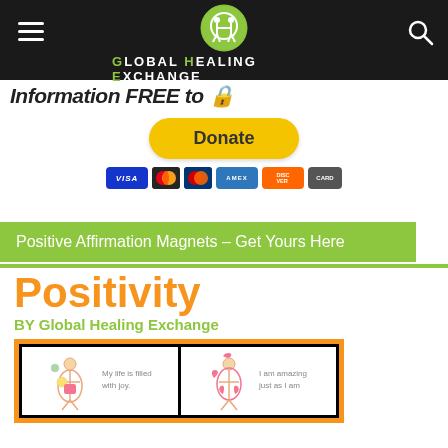Global Healing Exchange
Information FREE to
[Figure (screenshot): PayPal Donate button with payment icons (Visa, MasterCard, Maestro, Amex, Discover)]
Positive Affirmation Magnets – Get Yours Here
[Figure (illustration): Positivity by Global Healing Exchange logo with magnet cards showing affirmation illustrations]